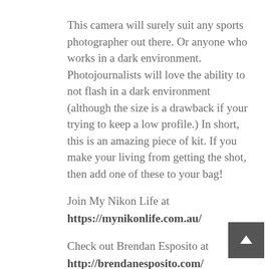This camera will surely suit any sports photographer out there. Or anyone who works in a dark environment. Photojournalists will love the ability to not flash in a dark environment (although the size is a drawback if your trying to keep a low profile.) In short, this is an amazing piece of kit. If you make your living from getting the shot, then add one of these to your bag!
Join My Nikon Life at https://mynikonlife.com.au/
Check out Brendan Esposito at http://brendanesposito.com/
For your family and wedding